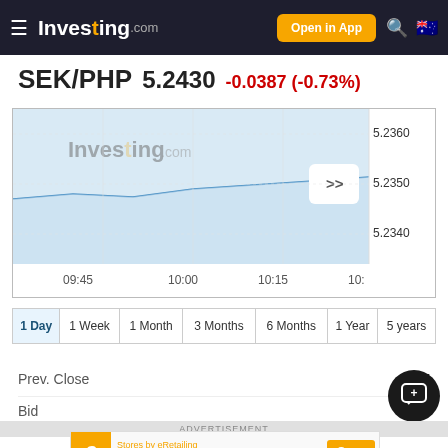Investing.com — Open in App
SEK/PHP 5.2430 -0.0387 (-0.73%)
[Figure (continuous-plot): Intraday price chart for SEK/PHP showing time range from 09:45 to ~10:30, price range approximately 5.2340 to 5.2360. Light blue area chart with Investing.com watermark. Y-axis labels: 5.2360, 5.2350, 5.2340. X-axis labels: 09:45, 10:00, 10:15, 10:]
| 1 Day | 1 Week | 1 Month | 3 Months | 6 Months | 1 Year | 5 years |
| --- | --- | --- | --- | --- | --- | --- |
|  |
Prev. Close
Bid
ADVERTISEMENT
[Figure (screenshot): Advertisement banner: eRetailing — Upload Your Logo & Sell — Open button]